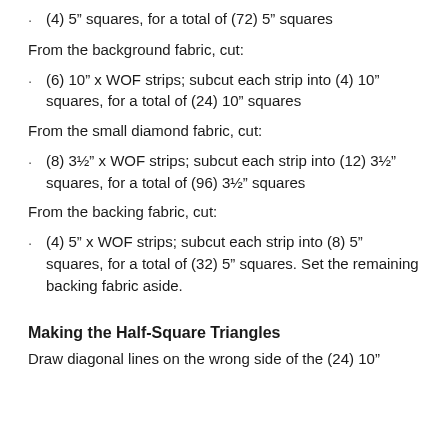(4) 5” squares, for a total of (72) 5” squares
From the background fabric, cut:
(6) 10” x WOF strips; subcut each strip into (4) 10” squares, for a total of (24) 10” squares
From the small diamond fabric, cut:
(8) 3½” x WOF strips; subcut each strip into (12) 3½” squares, for a total of (96) 3½” squares
From the backing fabric, cut:
(4) 5” x WOF strips; subcut each strip into (8) 5” squares, for a total of (32) 5” squares. Set the remaining backing fabric aside.
Making the Half-Square Triangles
Draw diagonal lines on the wrong side of the (24) 10”